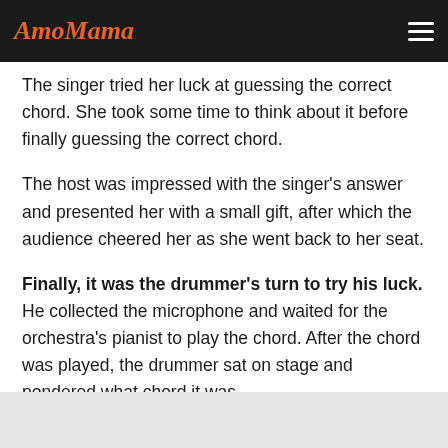AmoMama
The singer tried her luck at guessing the correct chord. She took some time to think about it before finally guessing the correct chord.
The host was impressed with the singer's answer and presented her with a small gift, after which the audience cheered her as she went back to her seat.
Finally, it was the drummer's turn to try his luck. He collected the microphone and waited for the orchestra's pianist to play the chord. After the chord was played, the drummer sat on stage and pondered what chord it was.
ADVERTISEMENT